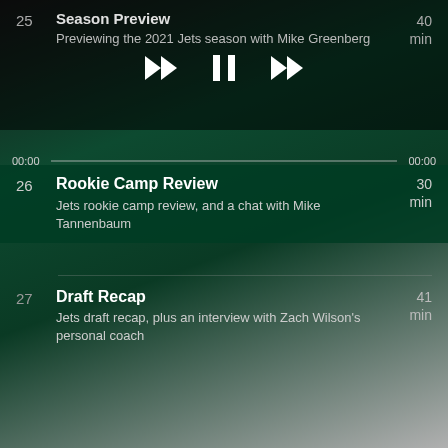25 | Season Preview | 40 min | Previewing the 2021 Jets season with Mike Greenberg
[Figure (screenshot): Podcast playback controls: rewind, pause, fast-forward buttons]
26 | Rookie Camp Review | 30 min | Jets rookie camp review, and a chat with Mike Tannenbaum
27 | Draft Recap | 41 min | Jets draft recap, plus an interview with Zach Wilson's personal coach
28 | Steve Young | 40 min | Hall-of-Fame QB and BYU alum Steve Young discusses Zach Wilson and his fit with the Jets.
29 | Joe Douglas | 18 min | Breaking down the Sam Darnold trade, with GM Joe Douglas
30 | Draft analyst Matt Miller | 39 min | ESPN draft analysts discusses Zach Wilson and the Jet's QB decision
31 | Matthew Willig | 46 | Analysis of the Darnold situation and chat with...